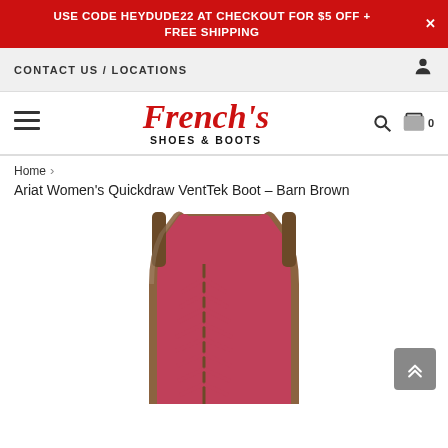USE CODE HEYDUDE22 AT CHECKOUT FOR $5 OFF + FREE SHIPPING
CONTACT US / LOCATIONS
[Figure (logo): French's Shoes & Boots logo in red serif italic font with black subtitle]
Home › Ariat Women's Quickdraw VentTek Boot - Barn Brown
[Figure (photo): Close-up of a brown cowboy boot with pink decorative cutout stitching pattern along the shaft, showing the top portion of the boot]